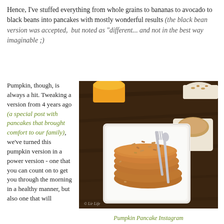Hence, I've stuffed everything from whole grains to bananas to avocado to black beans into pancakes with mostly wonderful results (the black bean version was accepted, but noted as "different... and not in the best way imaginable ;)
Pumpkin, though, is always a hit. Tweaking a version from 4 years ago (a special post with pancakes that brought comfort to our family), we've turned this pumpkin version in a power version - one that you can count on to get you through the morning in a healthy manner, but also one that will
[Figure (photo): Overhead photo of pumpkin pancakes stacked on a white square plate, topped with chopped nuts, with a fork and spoon alongside. A mug of coffee and a glass of orange juice are visible in the background on a dark wooden table. Watermark reads '© Lir Life'.]
Pumpkin Pancake Instagram